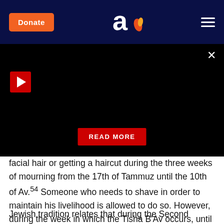Donate | Aish logo | Menu
[Figure (screenshot): Dark video panel with play button (red square with white triangle), a READ MORE button in red, and a close X button in white on black background]
facial hair or getting a haircut during the three weeks of mourning from the 17th of Tammuz until the 10th of Av.54 Someone who needs to shave in order to maintain his livelihood is allowed to do so. However, during the week in which the Tisha B'Av occurs, until the 10th of Av, neither Ashkenazim nor Sefardim may shave, even for pressing reasons.55
Jewish tradition relates that during the Second Jewish Commonwealth, the 24,000 disciples of the great sage,